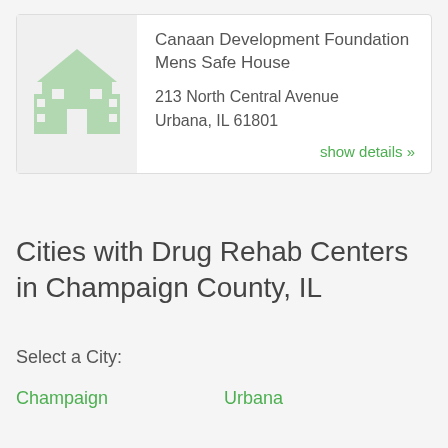[Figure (illustration): Building/house icon in light green color representing a facility]
Canaan Development Foundation Mens Safe House
213 North Central Avenue
Urbana, IL 61801
show details »
Cities with Drug Rehab Centers in Champaign County, IL
Select a City:
Champaign
Urbana